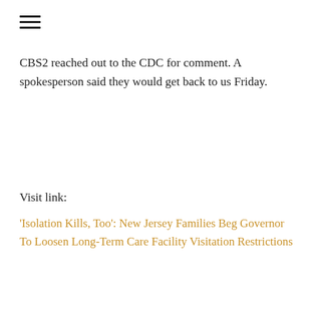[Figure (other): Hamburger menu icon (three horizontal lines)]
CBS2 reached out to the CDC for comment. A spokesperson said they would get back to us Friday.
Visit link:
‘Isolation Kills, Too’: New Jersey Families Beg Governor To Loosen Long-Term Care Facility Visitation Restrictions
March 5, 2021  |  0 comment
INTERNATIONAL